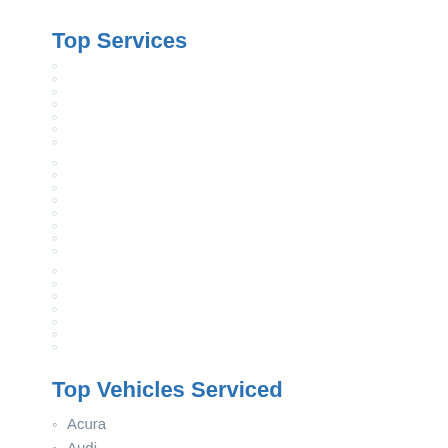Top Services
○ (dot placeholder group 1)
○ (dot placeholder group 2)
○ (dot placeholder group 3)
Top Vehicles Serviced
Acura
Audi
BMW
Honda
Hyundai
Jeep
Mazda
Mercedes-Benz
Nissan